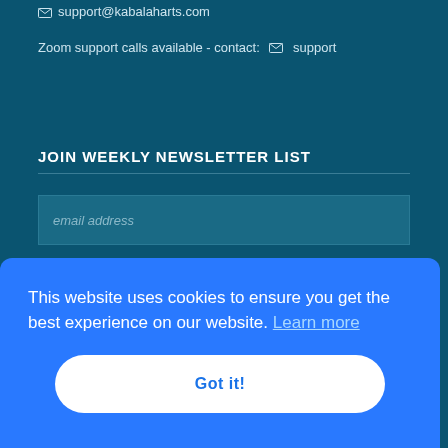support@kabalaharts.com
Zoom support calls available - contact: support
JOIN WEEKLY NEWSLETTER LIST
email address
SUBSCRIBE
This website uses cookies to ensure you get the best experience on our website. Learn more
Got it!